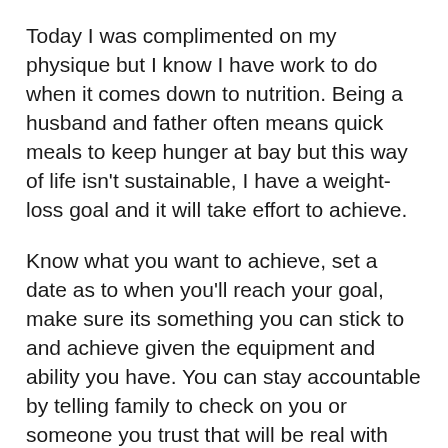Today I was complimented on my physique but I know I have work to do when it comes down to nutrition. Being a husband and father often means quick meals to keep hunger at bay but this way of life isn't sustainable, I have a weight-loss goal and it will take effort to achieve.
Know what you want to achieve, set a date as to when you'll reach your goal, make sure its something you can stick to and achieve given the equipment and ability you have. You can stay accountable by telling family to check on you or someone you trust that will be real with you and help you stay on track. A weekly weigh-in is the perfect time to check on your progress, whatever works for you.
Continuing this life is a long exercise with your body, the...